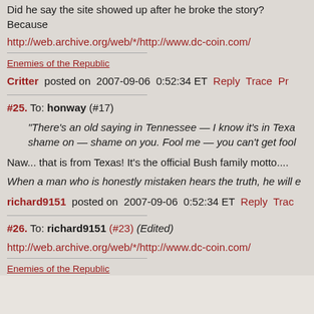Did he say the site showed up after he broke the story? Because
http://web.archive.org/web/*/http://www.dc-coin.com/
Enemies of the Republic
Critter posted on 2007-09-06 0:52:34 ET Reply Trace Pr
#25. To: honway (#17)
"There's an old saying in Tennessee — I know it's in Texa shame on — shame on you. Fool me — you can't get fool
Naw... that is from Texas! It's the official Bush family motto....
When a man who is honestly mistaken hears the truth, he will e
richard9151 posted on 2007-09-06 0:52:34 ET Reply Trac
#26. To: richard9151 (#23) (Edited)
http://web.archive.org/web/*/http://www.dc-coin.com/
Enemies of the Republic